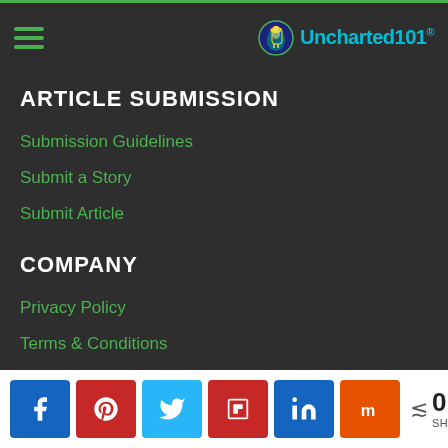Uncharted101
ARTICLE SUBMISSION
Submission Guidelines
Submit a Story
Submit Article
COMPANY
Privacy Policy
Terms & Conditions
Advertising
About Us
0 SHARES